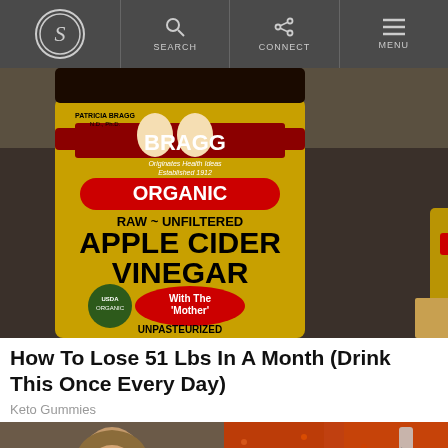[Figure (screenshot): Website navigation bar with circular S logo on left, and SEARCH, CONNECT, MENU buttons on right against dark gray background]
[Figure (photo): Bragg Organic Raw Unfiltered Apple Cider Vinegar bottles with The Mother, USDA Organic certified, Unpasteurized, Gluten-Free. Yellow labeled bottles on a store shelf.]
How To Lose 51 Lbs In A Month (Drink This Once Every Day)
Keto Gummies
[Figure (photo): Woman with long blonde hair looking at camera, and a close-up image of orange/red spice powder]
[Figure (photo): Close-up image of orange/red spice powder with measuring spoon]